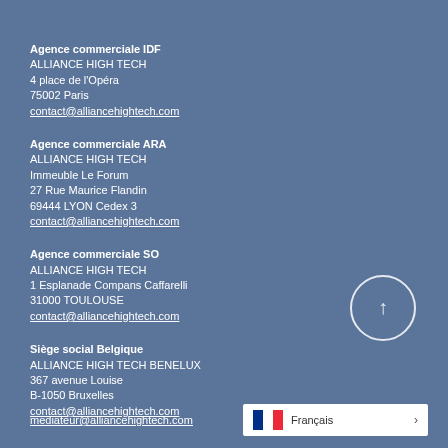Agence commerciale IDF
ALLIANCE HIGH TECH
4 place de l'Opéra
75002 Paris
contact@alliancehightech.com
Agence commerciale ARA
ALLIANCE HIGH TECH
Immeuble Le Forum
27 Rue Maurice Flandin
69444 LYON Cedex 3
contact@alliancehightech.com
Agence commerciale SO
ALLIANCE HIGH TECH
1 Esplanade Compans Caffarelli
31000 TOULOUSE
contact@alliancehightech.com
Siège social Belgique
ALLIANCE HIGH TECH BENELUX
367 avenue Louise
B-1050 Bruxelles
contact@alliancehightech.com
[Figure (other): Circle button with upward arrow icon]
mediateur@alliancehightech.com
Français